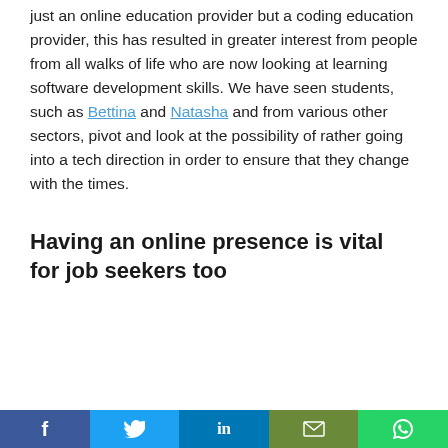just an online education provider but a coding education provider, this has resulted in greater interest from people from all walks of life who are now looking at learning software development skills. We have seen students, such as Bettina and Natasha and from various other sectors, pivot and look at the possibility of rather going into a tech direction in order to ensure that they change with the times.
Having an online presence is vital for job seekers too